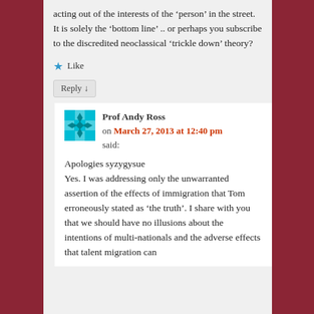acting out of the interests of the ‘person’ in the street. It is solely the ‘bottom line’ .. or perhaps you subscribe to the discredited neoclassical ‘trickle down’ theory?
★ Like
Reply ↓
Prof Andy Ross on March 27, 2013 at 12:40 pm said:
Apologies syzygysue
Yes. I was addressing only the unwarranted assertion of the effects of immigration that Tom erroneously stated as ‘the truth’. I share with you that we should have no illusions about the intentions of multi-nationals and the adverse effects that talent migration can